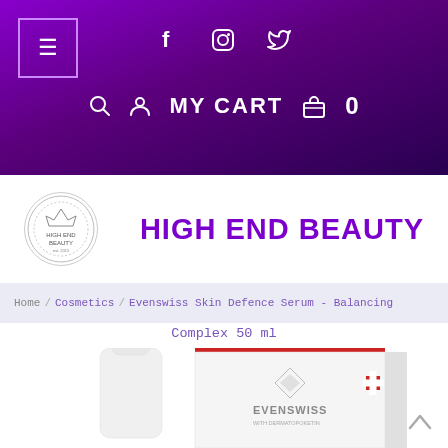f  [instagram]  [twitter]  [search] [user] MY CART [bag] 0
[Figure (logo): High End Beauty circular logo with crown emblem]
HIGH END BEAUTY
Home / Cosmetics / Evenswiss Skin Defence Serum - Balancing Complex 50 ml
Evenswiss Skin Defence Serum - Balancing Complex 50 ml
[Figure (photo): Evenswiss Skin Defence Serum product photo showing a white pump bottle and product box with Swiss cross branding and Dermatopoketin label]